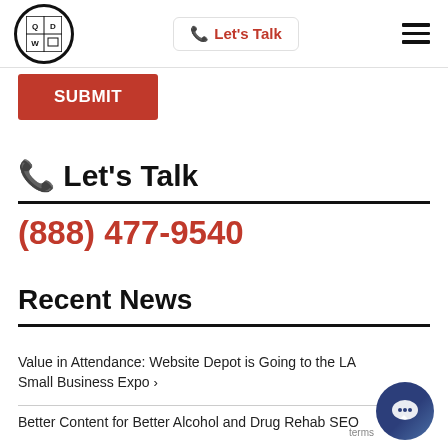[Figure (logo): Circular logo with W, O, D letters in a grid inside a black circle]
Let's Talk
[Figure (other): Hamburger menu icon (three horizontal lines)]
SUBMIT
Let's Talk
(888) 477-9540
Recent News
Value in Attendance: Website Depot is Going to the LA Small Business Expo >
Better Content for Better Alcohol and Drug Rehab SEO